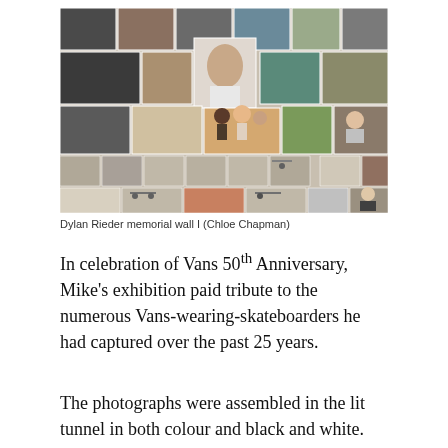[Figure (photo): A collage/memorial wall of numerous photographs showing skateboarders and people in various settings, some in colour and some black and white, assembled together on a wall.]
Dylan Rieder memorial wall I (Chloe Chapman)
In celebration of Vans 50th Anniversary, Mike's exhibition paid tribute to the numerous Vans-wearing-skateboarders he had captured over the past 25 years.
The photographs were assembled in the lit tunnel in both colour and black and white.